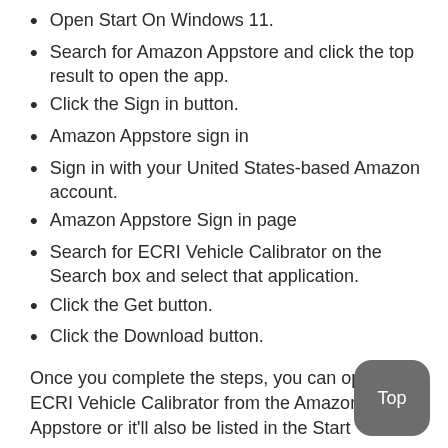Open Start On Windows 11.
Search for Amazon Appstore and click the top result to open the app.
Click the Sign in button.
Amazon Appstore sign in
Sign in with your United States-based Amazon account.
Amazon Appstore Sign in page
Search for ECRI Vehicle Calibrator on the Search box and select that application.
Click the Get button.
Click the Download button.
Once you complete the steps, you can open ECRI Vehicle Calibrator from the Amazon Appstore or it'll also be listed in the Start menu on